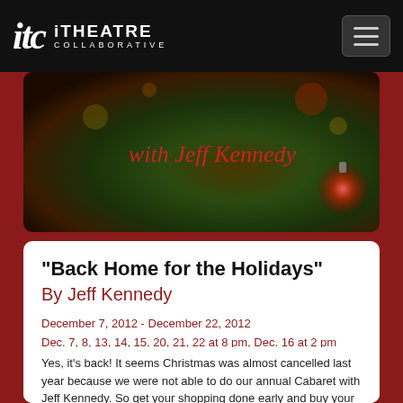itc iTheatre Collaborative
[Figure (photo): Hero image with text 'with Jeff Kennedy' overlaid in red italic on a dark green/brown background, with a red ornament visible at right]
“Back Home for the Holidays”
By Jeff Kennedy
December 7, 2012 - December 22, 2012
Dec. 7, 8, 13, 14, 15, 20, 21, 22 at 8 pm, Dec. 16 at 2 pm
Premiered December 2012
Presented by iTheatre Collaborative
Yes, it’s back! It seems Christmas was almost cancelled last year because we were not able to do our annual Cabaret with Jeff Kennedy. So get your shopping done early and buy your tickets